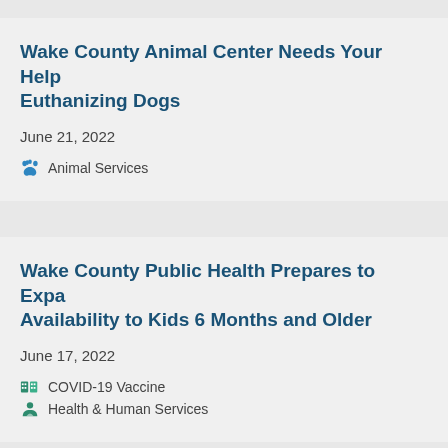Wake County Animal Center Needs Your Help Euthanizing Dogs
June 21, 2022
Animal Services
Wake County Public Health Prepares to Expand Availability to Kids 6 Months and Older
June 17, 2022
COVID-19 Vaccine
Health & Human Services
May 2022: Median Price of Wake County R...